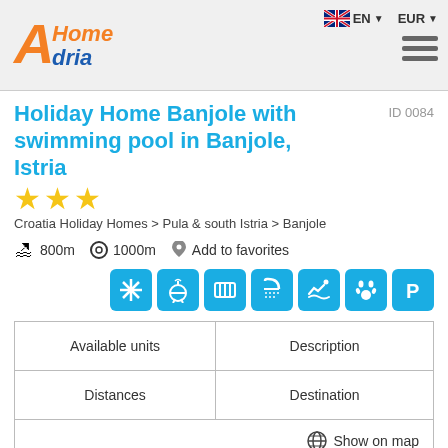[Figure (logo): AHomeAdria logo with orange and blue text on grey header background]
EN EUR
Holiday Home Banjole with swimming pool in Banjole, Istria
ID 0084
★★★
Croatia Holiday Homes > Pula & south Istria > Banjole
🏖 800m  ⊙ 1000m  ♥ Add to favorites
[Figure (infographic): Row of 7 blue amenity icons: air conditioning, BBQ, heating, shower, swimming pool, pets allowed, parking]
| Available units | Description |
| --- | --- |
| Distances | Destination |
🌐 Show on map